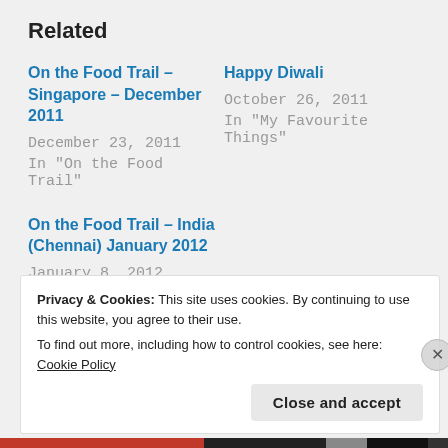Related
On the Food Trail – Singapore – December 2011
December 23, 2011
In "On the Food Trail"
Happy Diwali
October 26, 2011
In "My Favourite Things"
On the Food Trail – India (Chennai) January 2012
January 8, 2012
In "On the Food Trail"
Privacy & Cookies: This site uses cookies. By continuing to use this website, you agree to their use.
To find out more, including how to control cookies, see here: Cookie Policy
Close and accept